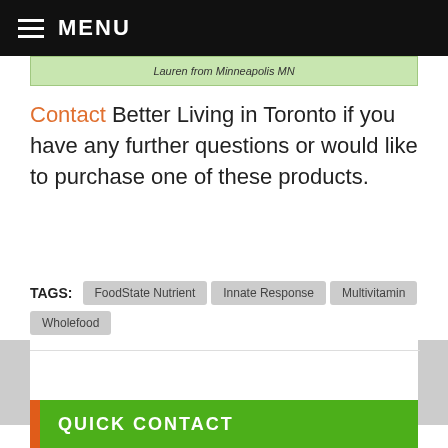MENU
| Lauren from Minneapolis MN |
Contact Better Living in Toronto if you have any further questions or would like to purchase one of these products.
TAGS: FoodState Nutrient  Innate Response  Multivitamin  Wholefood
QUICK CONTACT